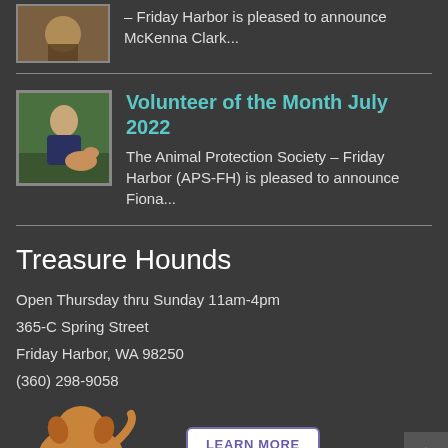[Figure (photo): Partial thumbnail photo at top, clipped]
– Friday Harbor is pleased to announce McKenna Clark...
[Figure (photo): Photo of volunteer kneeling with a dog outdoors]
Volunteer of the Month July 2022
The Animal Protection Society – Friday Harbor (APS-FH) is pleased to announce Fiona...
Treasure Hounds
Open Thursday thru Sunday 11am-4pm
365-C Spring Street
Friday Harbor, WA 98250
(360) 298-9058
[Figure (illustration): Cartoon dog illustration, brown, seen from behind]
LEARN MORE
Animal Protection